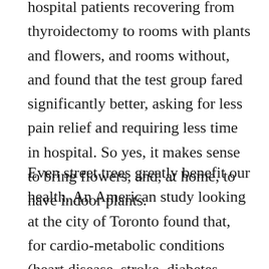hospital patients recovering from thyroidectomy to rooms with plants and flowers, and rooms without, and found that the test group fared significantly better, asking for less pain relief and requiring less time in hospital. So yes, it makes sense to bring flowers, and, at home, to have indoor plants.
Even street trees greatly benefit our health. An American study looking at the city of Toronto found that, for cardio-metabolic conditions (heart disease, stroke, diabetes, obesity...), an increase of just 11 trees per city block compared to an increase in annual personal income of $20,000.